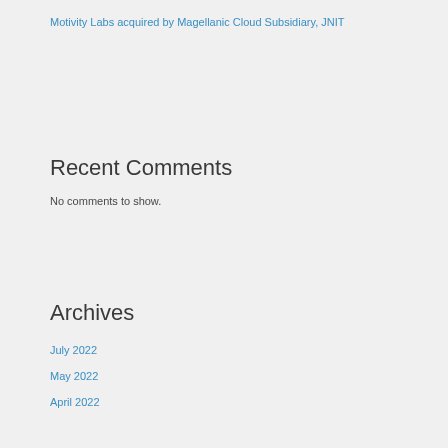Motivity Labs acquired by Magellanic Cloud Subsidiary, JNIT
Recent Comments
No comments to show.
Archives
July 2022
May 2022
April 2022